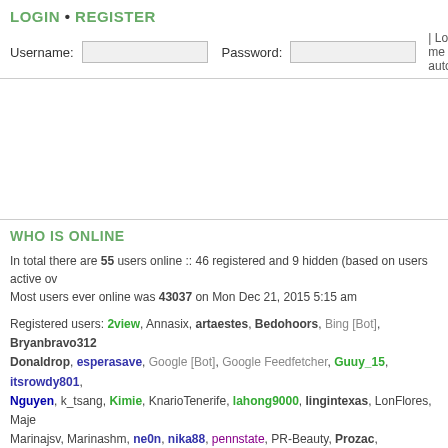LOGIN • REGISTER
Username: [input] Password: [input] | Log me on autom
WHO IS ONLINE
In total there are 55 users online :: 46 registered and 9 hidden (based on users active ov… Most users ever online was 43037 on Mon Dec 21, 2015 5:15 am
Registered users: 2view, Annasix, artaestes, Bedohoors, Bing [Bot], Bryanbravo312, Donaldrop, esperasave, Google [Bot], Google Feedfetcher, Guuy_15, itsrowdy801, Nguyen, k_tsang, Kimie, KnarioTenerife, lahong9000, lingintexas, LonFlores, Maje, Marinajsv, Marinashm, ne0n, nika88, pennstate, PR-Beauty, Prozac, QUEENoftheN, simi, Sprineffews, StephenLab, tonys12345, tqazxcmnb569, tuberists, yam021989
Legend: Administrators, AMBASSADORS, ANGELS, BEAUTY EXPERTS, CORRESPO, ENTERTAINERS, FASHION EXPERTS, Global moderators, GRAPHIC DESIGNERS, IN, MISSOSOLOGISTS, PAGEANT APPRENTICES, PAGEANT EXPERTS, PAGEANT HIS, PAGEANT SPECIALISTS, PG CHAMPIONS, PIONEERS, PREDICTIONISTS, PROFES, SONICS, SUPER STARS, TOP MODELS, VIP MEMBERS, WEBMASTERS, WORLD B
STATISTICS
Total posts 5943883 • Total topics 208792 • Total members 421190 • Our newest membe